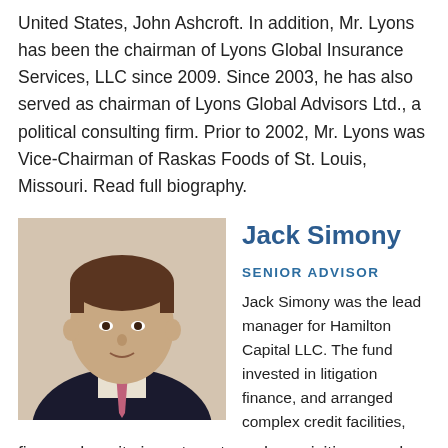United States, John Ashcroft. In addition, Mr. Lyons has been the chairman of Lyons Global Insurance Services, LLC since 2009. Since 2003, he has also served as chairman of Lyons Global Advisors Ltd., a political consulting firm. Prior to 2002, Mr. Lyons was Vice-Chairman of Raskas Foods of St. Louis, Missouri. Read full biography.
[Figure (photo): Professional headshot of Jack Simony, a man in a dark suit with a pink tie, photographed against a light background.]
Jack Simony
SENIOR ADVISOR
Jack Simony was the lead manager for Hamilton Capital LLC. The fund invested in litigation finance, and arranged complex credit facilities, financed equity investments and acquisitions, and structured multi-party corporate transactions. His career has